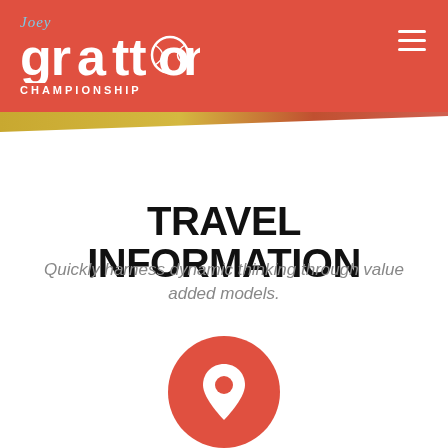[Figure (logo): Joey Gratton Championship logo — white text on red background with hamburger menu icon]
TRAVEL INFORMATION
Quickly harness dynamic thinking through value added models.
[Figure (illustration): Red circle with white map pin / location marker icon]